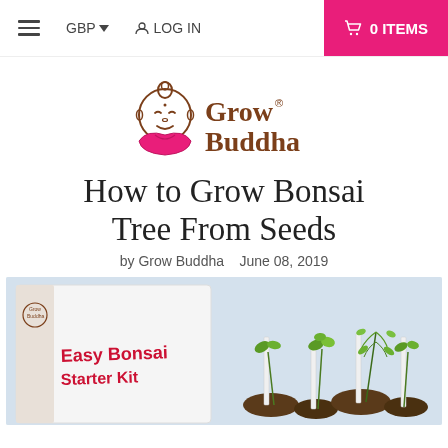≡  GBP ▾  🧍 LOG IN  🛒 0 ITEMS
[Figure (logo): Grow Buddha logo: illustrated smiling Buddha face in brown outline with pink robes, next to the text 'Grow Buddha' in brown serif font with a registered trademark symbol]
How to Grow Bonsai Tree From Seeds
by Grow Buddha   June 08, 2019
[Figure (photo): Product photo showing a Grow Buddha 'Easy Bonsai Starter Kit' white box on the left with red text, and on the right several small bonsai seedlings growing in peat pellets with white plant label stakes, against a light blue-grey background]